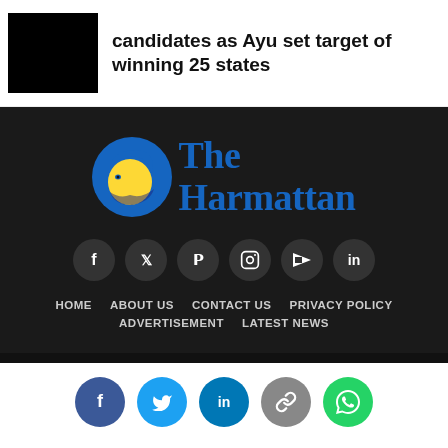candidates as Ayu set target of winning 25 states
[Figure (logo): The Harmattan logo — eagle head in blue circle with yellow beak, beside serif text 'The Harmattan' in dark blue]
[Figure (infographic): Social media icon row: Facebook, Twitter, Pinterest, Instagram, YouTube, LinkedIn — dark circle buttons]
HOME
ABOUT US
CONTACT US
PRIVACY POLICY
ADVERTISEMENT
LATEST NEWS
[Figure (infographic): Share bar with colored circle buttons: Facebook (blue), Twitter (light blue), LinkedIn (dark blue), Link (grey), WhatsApp (green)]